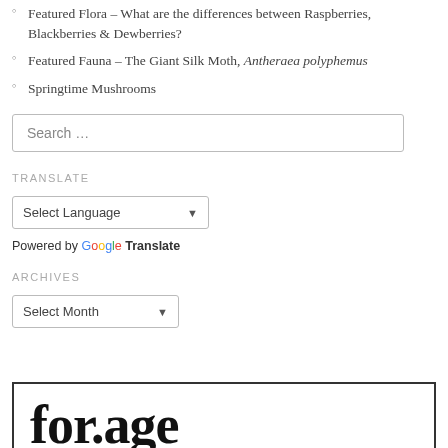Featured Flora – What are the differences between Raspberries, Blackberries & Dewberries?
Featured Fauna – The Giant Silk Moth, Antheraea polyphemus
Springtime Mushrooms
Search …
TRANSLATE
Select Language
Powered by Google Translate
ARCHIVES
Select Month
[Figure (logo): Partial view of 'forage' logo text in large bold serif font inside a bordered box]